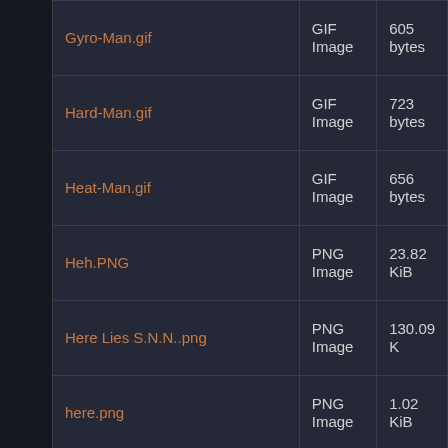| Name | Type | Size |
| --- | --- | --- |
| Gyro-Man.gif | GIF Image | 605 bytes |
| Hard-Man.gif | GIF Image | 723 bytes |
| Heat-Man.gif | GIF Image | 656 bytes |
| Heh.PNG | PNG Image | 23.82 KiB |
| Here Lies S.N.N..png | PNG Image | 130.09 K |
| here.png | PNG Image | 1.02 KiB |